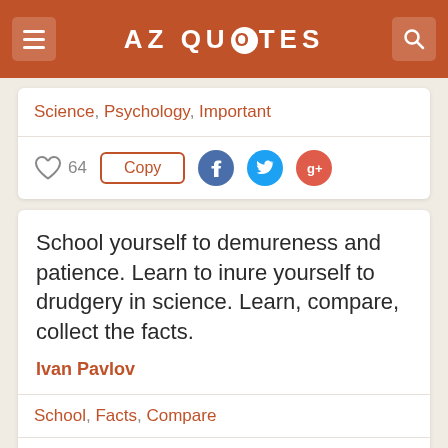AZ QUOTES
Science, Psychology, Important
♡ 64  Copy
School yourself to demureness and patience. Learn to inure yourself to drudgery in science. Learn, compare, collect the facts.

Ivan Pavlov
School, Facts, Compare
Bequest to the Academic Youth of Soviet Russia, 27 February (1936)
♡ 65  Copy